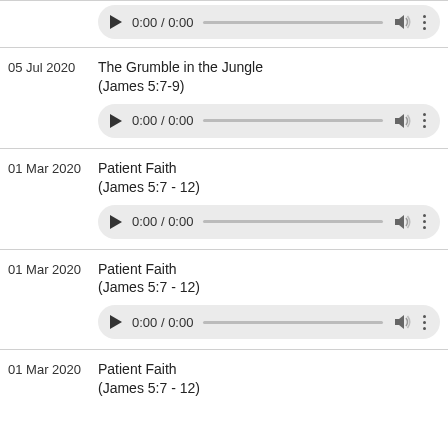[Figure (screenshot): Audio player widget showing 0:00 / 0:00 with play button, progress bar, volume, and more options]
05 Jul 2020
The Grumble in the Jungle
(James 5:7-9)
[Figure (screenshot): Audio player widget showing 0:00 / 0:00]
01 Mar 2020
Patient Faith
(James 5:7 - 12)
[Figure (screenshot): Audio player widget showing 0:00 / 0:00]
01 Mar 2020
Patient Faith
(James 5:7 - 12)
[Figure (screenshot): Audio player widget showing 0:00 / 0:00]
01 Mar 2020
Patient Faith
(James 5:7 - 12)